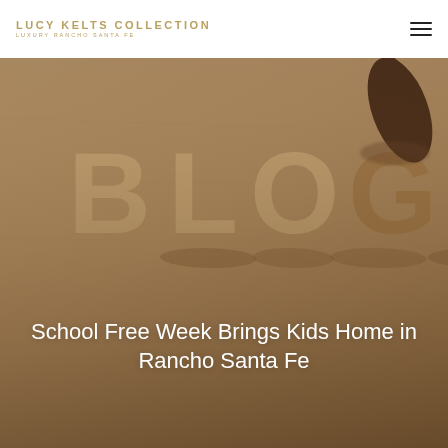LUCY KELTS COLLECTION LUXURY RANCHO SANTA FE
[Figure (photo): A tan/brown textured surface with large 3D letters spelling BLOG with a hand touching the G letter from the upper right. Warm sepia tones throughout.]
School Free Week Brings Kids Home in Rancho Santa Fe